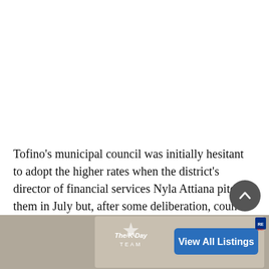Tofino's municipal council was initially hesitant to adopt the higher rates when the district's director of financial services Nyla Attiana pitched them in July but, after some deliberation, council came around on the idea and unanimously approved the new rates last month.
[Figure (other): Advertisement banner for 'The K Day Team' real estate with a 'View All Listings' blue button and RE/MAX logo]